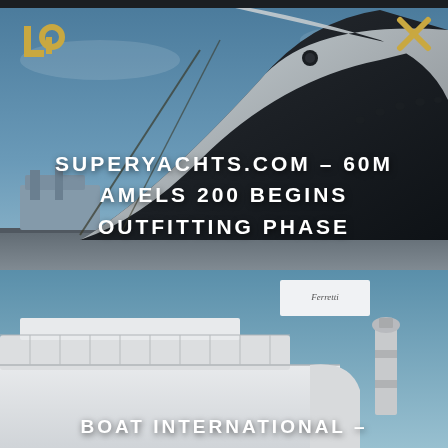[Figure (photo): Large superyacht hull photographed from below against a blue sky, in a shipyard dock. The hull is grey/white with a black lower section. Ropes and equipment visible.]
SUPERYACHTS.COM – 60M AMELS 200 BEGINS OUTFITTING PHASE
[Figure (photo): Large white motor yacht moored at a dock with a lighthouse visible in the background against a blue sky. A banner with 'Ferretti' visible.]
BOAT INTERNATIONAL –